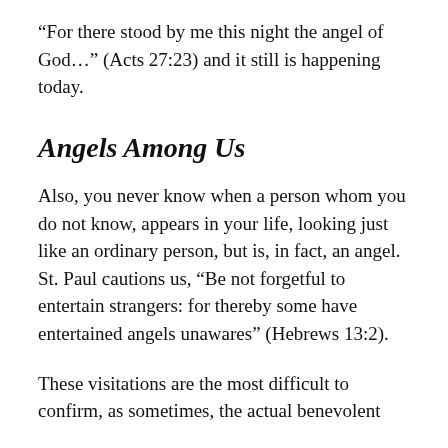“For there stood by me this night the angel of God…” (Acts 27:23) and it still is happening today.
Angels Among Us
Also, you never know when a person whom you do not know, appears in your life, looking just like an ordinary person, but is, in fact, an angel. St. Paul cautions us, “Be not forgetful to entertain strangers: for thereby some have entertained angels unawares” (Hebrews 13:2).
These visitations are the most difficult to confirm, as sometimes, the actual benevolent